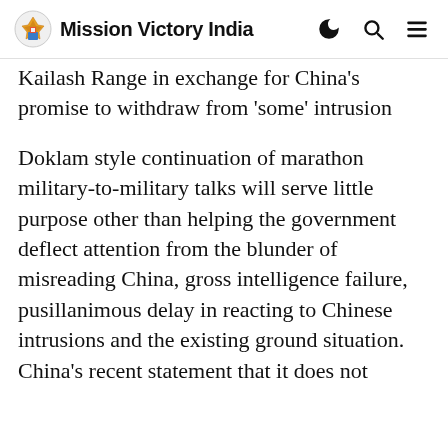Mission Victory India
Kailash Range in exchange for China's promise to withdraw from 'some' intrusion areas. We should be clear that if we do this, China will immediately occupy these.
Doklam style continuation of marathon military-to-military talks will serve little purpose other than helping the government deflect attention from the blunder of misreading China, gross intelligence failure, pusillanimous delay in reacting to Chinese intrusions and the existing ground situation. China's recent statement that it does not